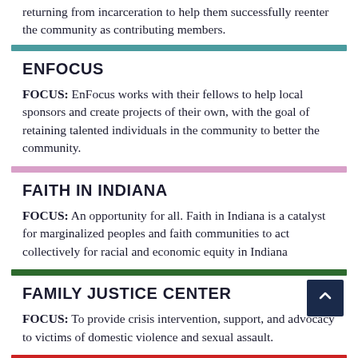returning from incarceration to help them successfully reenter the community as contributing members.
ENFOCUS
FOCUS: EnFocus works with their fellows to help local sponsors and create projects of their own, with the goal of retaining talented individuals in the community to better the community.
FAITH IN INDIANA
FOCUS: An opportunity for all. Faith in Indiana is a catalyst for marginalized peoples and faith communities to act collectively for racial and economic equity in Indiana
FAMILY JUSTICE CENTER
FOCUS: To provide crisis intervention, support, and advocacy to victims of domestic violence and sexual assault.
FOREVER LEARNING INSTITUTE
FOCUS: Improving the quality and dignity of senior adult life through continuing intellectual challenge, spiritual reflection, and